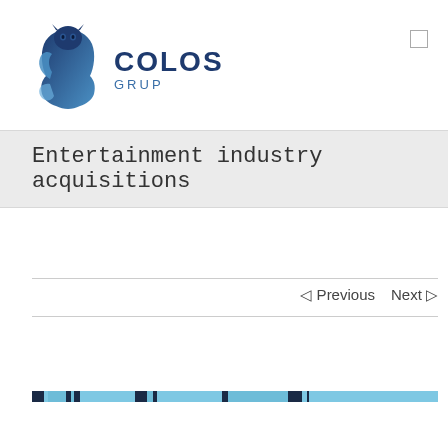[Figure (logo): Colos Grup logo: stylized blue cat silhouette with 'COLOS GRUP' text in dark blue]
Entertainment industry acquisitions
◁ Previous   Next ▷
[Figure (infographic): Horizontal progress/pagination bar with alternating dark navy and light blue segments]